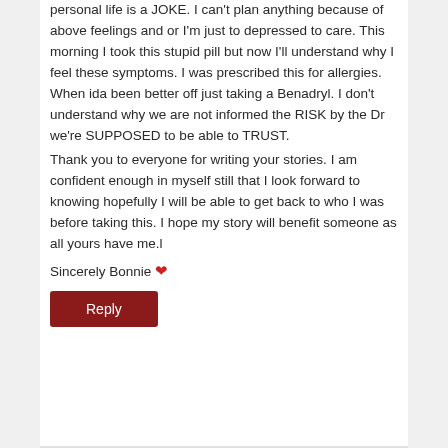personal life is a JOKE. I can't plan anything because of above feelings and or I'm just to depressed to care. This morning I took this stupid pill but now I'll understand why I feel these symptoms. I was prescribed this for allergies. When ida been better off just taking a Benadryl. I don't understand why we are not informed the RISK by the Dr we're SUPPOSED to be able to TRUST.
Thank you to everyone for writing your stories. I am confident enough in myself still that I look forward to knowing hopefully I will be able to get back to who I was before taking this. I hope my story will benefit someone as all yours have me.l
Sincerely Bonnie ❤
Reply